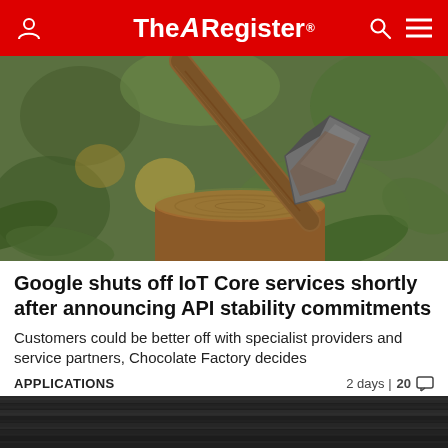The Register
[Figure (photo): A rusty axe embedded in a tree stump, with green foliage in the background]
Google shuts off IoT Core services shortly after announcing API stability commitments
Customers could be better off with specialist providers and service partners, Chocolate Factory decides
APPLICATIONS	2 days | 20 comments
[Figure (photo): Partial bottom image strip showing dark machinery or equipment]